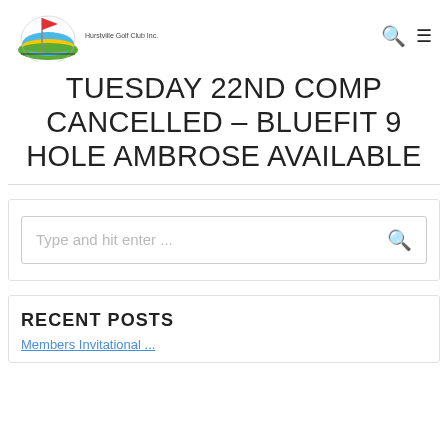Hurstville Golf Club Inc. [logo] [search icon] [menu icon]
TUESDAY 22ND COMP CANCELLED – BLUEFIT 9 HOLE AMBROSE AVAILABLE
[Figure (other): Search box widget with placeholder text 'Type and hit enter ...' and a search icon]
RECENT POSTS
[partial link text visible at bottom]